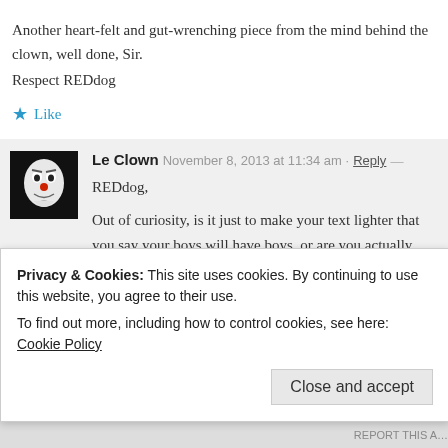Another heart-felt and gut-wrenching piece from the mind behind the clown, well done, Sir.
Respect REDdog
★ Like
Le Clown  November 8, 2013 at 11:34 am · Reply —
REDdog,
Out of curiosity, is it just to make your text lighter that you say your boys will have boys, or are you actually looking for the seventh son of a seventh son?
Le Clown
Privacy & Cookies: This site uses cookies. By continuing to use this website, you agree to their use.
To find out more, including how to control cookies, see here: Cookie Policy
Close and accept